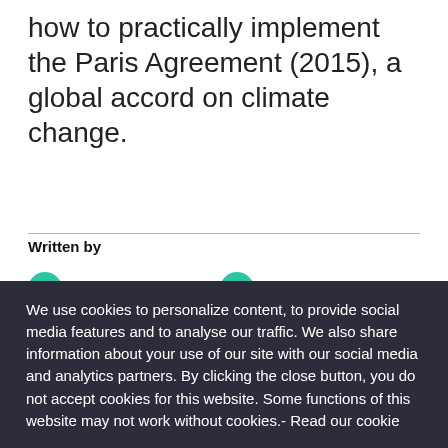how to practically implement the Paris Agreement (2015), a global accord on climate change.
Written by
Hanna Ståhlberg   Emily Yehle
Topics and subtopics
Air : Pollution · Short-lived climate pollutants
Climate : Climate policy · Fossil fuels · Short-lived climate
We use cookies to personalize content, to provide social media features and to analyse our traffic. We also share information about your use of our site with our social media and analytics partners. By clicking the close button, you do not accept cookies for this website. Some functions of this website may not work without cookies.- Read our cookie